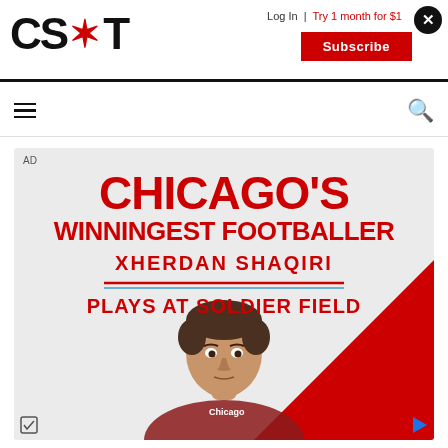CS*T — Log In | Try 1 month for $1 | Subscribe
[Figure (screenshot): Chicago Sun-Times (CS*T) website header with logo, login link, 'Try 1 month for $1', Subscribe button, hamburger menu, and search icon]
[Figure (infographic): Advertisement for Chicago Fire FC featuring text 'CHICAGO'S WINNINGEST FOOTBALLER XHERDAN SHAQIRI PLAYS AT SOLDIER FIELD' with a player photo and red/white color scheme]